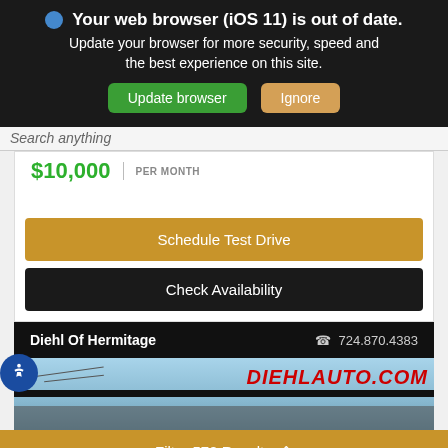Your web browser (iOS 11) is out of date. Update your browser for more security, speed and the best experience on this site.
Update browser
Ignore
$10,000
PER MONTH
Schedule Test Drive
Check Availability
Diehl Of Hermitage
724.870.4383
[Figure (photo): Partial view of a dealership exterior with sky background and DIEHLAUTO.COM logo]
Filter 570 Results ^